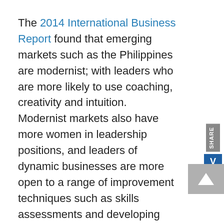The 2014 International Business Report found that emerging markets such as the Philippines are modernist; with leaders who are more likely to use coaching, creativity and intuition. Modernist markets also have more women in leadership positions, and leaders of dynamic businesses are more open to a range of improvement techniques such as skills assessments and developing peer networks. The report also found that integrity, positive attitude and communication are consistent attributes of good leaders across all regions and sectors.
According to the report, 90 percent of businesses in the Philippines have used a business coach, making it the highest number in the world. The Philippines also ranks second for women in senior management, tied with Botswana at 39 percent. Fourth; four percent of